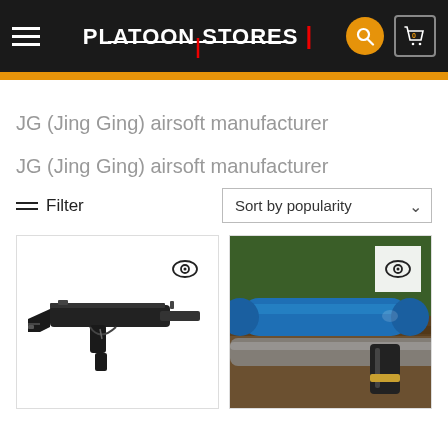PLATOON STORES
JG (Jing Ging) airsoft manufacturer
JG (Jing Ging) airsoft manufacturer
Filter   Sort by popularity
[Figure (photo): Airsoft submachine gun (MP5 style) product photo on white background with eye/quick-view icon]
[Figure (photo): Close-up photo of airsoft gun parts with blue suppressor/barrel attachment and magazine, with eye/quick-view icon]